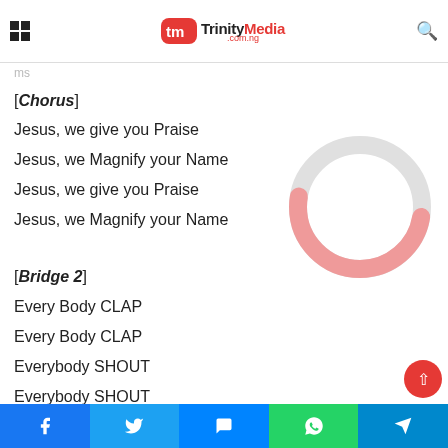TrinityMedia.com.ng
We Lift our voice, we lift our hearts
Magnify your Name
[Chorus]
Jesus, we give you Praise
Jesus, we Magnify your Name
Jesus, we give you Praise
Jesus, we Magnify your Name
[Figure (other): Loading spinner / donut spinner overlay in light gray and pink-red colors]
[Bridge 2]
Every Body CLAP
Every Body CLAP
Everybody SHOUT
Everybody SHOUT
Every Body DANCE
Every Body DANCE
Facebook | Twitter | Messenger | WhatsApp | Telegram